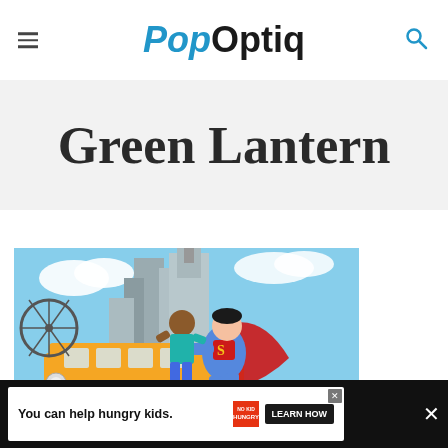PopOptiq
Green Lantern
[Figure (illustration): Comic book style illustration showing Superman flying and rescuing a child near a yellow school bus in a city setting, with various urban elements like a bicycle wheel and buildings in the background.]
You can help hungry kids. NO KID HUNGRY LEARN HOW